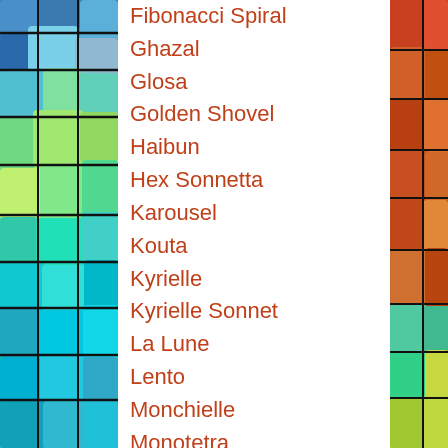[Figure (illustration): Colorful abstract mosaic/stained-glass style artwork on the left side of the page with blues, greens, teals, and yellows]
[Figure (illustration): Colorful abstract mosaic/stained-glass style artwork on the right side of the page with reds, oranges, and greens]
Fibonacci Spiral
Ghazal
Glosa
Golden Shovel
Haibun
Hex Sonnetta
Karousel
Kouta
Kyrielle
Kyrielle Sonnet
La Lune
Lento
Monchielle
Monotetra
Musette (partially visible)